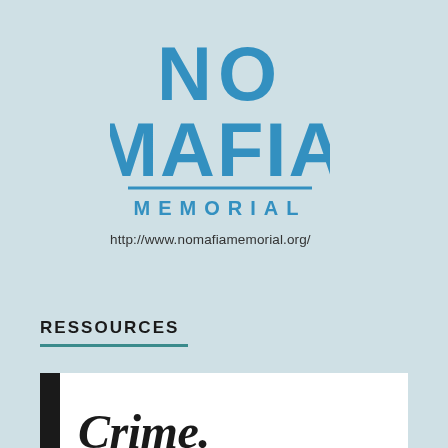[Figure (logo): No Mafia Memorial logo — bold distressed blue block letters reading 'NO MAFIA' stacked above a horizontal rule and 'MEMORIAL' in spaced blue capitals]
http://www.nomafiamemorial.org/
RESSOURCES
[Figure (photo): Partial book cover showing a thick black vertical bar on the left and large serif bold text 'Crime.' in dark on white background]